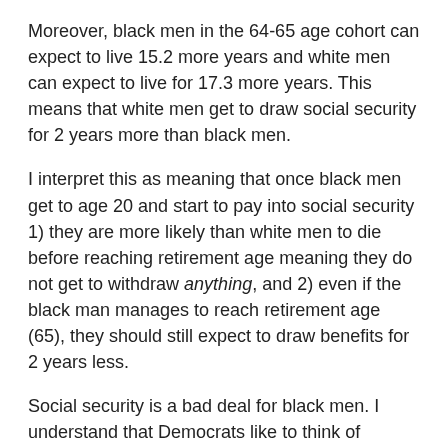Moreover, black men in the 64-65 age cohort can expect to live 15.2 more years and white men can expect to live for 17.3 more years. This means that white men get to draw social security for 2 years more than black men.
I interpret this as meaning that once black men get to age 20 and start to pay into social security 1) they are more likely than white men to die before reaching retirement age meaning they do not get to withdraw anything, and 2) even if the black man manages to reach retirement age (65), they should still expect to draw benefits for 2 years less.
Social security is a bad deal for black men. I understand that Democrats like to think of themselves as being champions of black people, but their decision to oppose social security reform genuinely puts them at odds with their black constituency. I bet you that the author did not even bother reading the report before pointing to it.
The Slate aritcle gets its second argument wrong as well. It says